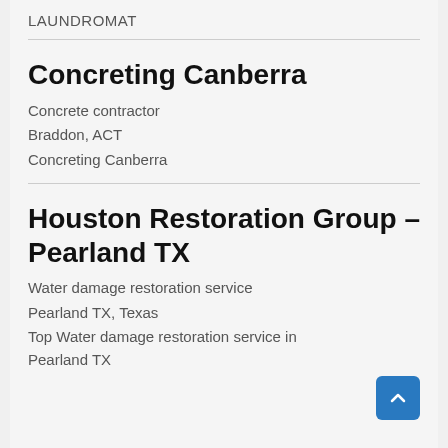LAUNDROMAT
Concreting Canberra
Concrete contractor
Braddon, ACT
Concreting Canberra
Houston Restoration Group – Pearland TX
Water damage restoration service
Pearland TX, Texas
Top Water damage restoration service in Pearland TX